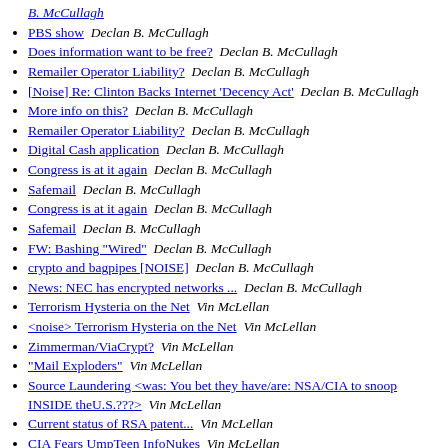B. McCullagh
PBS show  Declan B. McCullagh
Does information want to be free?  Declan B. McCullagh
Remailer Operator Liability?  Declan B. McCullagh
[Noise] Re: Clinton Backs Internet 'Decency Act'  Declan B. McCullagh
More info on this?  Declan B. McCullagh
Remailer Operator Liability?  Declan B. McCullagh
Digital Cash application  Declan B. McCullagh
Congress is at it again  Declan B. McCullagh
Safemail  Declan B. McCullagh
Congress is at it again  Declan B. McCullagh
Safemail  Declan B. McCullagh
FW: Bashing "Wired"  Declan B. McCullagh
crypto and bagpipes [NOISE]  Declan B. McCullagh
News: NEC has encrypted networks ...  Declan B. McCullagh
Terrorism Hysteria on the Net  Vin McLellan
<noise> Terrorism Hysteria on the Net  Vin McLellan
Zimmerman/ViaCrypt?  Vin McLellan
"Mail Exploders"  Vin McLellan
Source Laundering <was: You bet they have/are: NSA/CIA to snoop INSIDE theU.S.???>  Vin McLellan
Current status of RSA patent...  Vin McLellan
CIA Fears UmpTeen InfoNukes  Vin McLellan